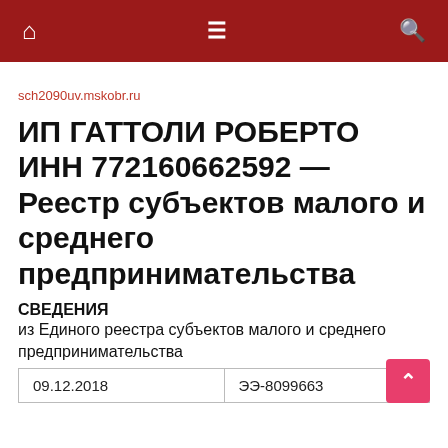nav bar with home, menu, search icons
sch2090uv.mskobr.ru
ИП ГАТТОЛИ РОБЕРТО ИНН 772160662592 — Реестр субъектов малого и среднего предпринимательства
СВЕДЕНИЯ
из Единого реестра субъектов малого и среднего предпринимательства
| 09.12.2018 | ЭЭ-8099663 |